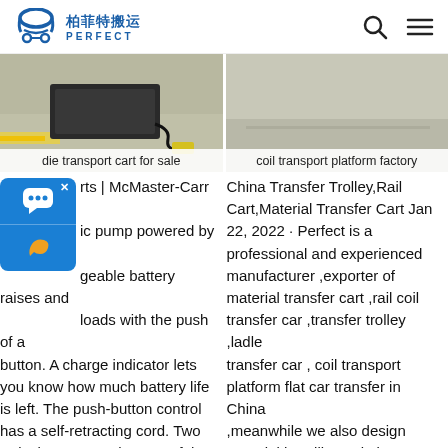[Figure (logo): Perfect company logo with Chinese characters 柏菲特搬运 and English text PERFECT, blue color]
[Figure (photo): Die transport cart for sale - photo of electric transport cart on warehouse floor]
die transport cart for sale
[Figure (photo): Coil transport platform factory - photo of transport platform in factory setting]
coil transport platform factory
rts | McMaster-Carr A ic pump powered by a geable battery raises and loads with the push of a button. A charge indicator lets you know how much battery life is left. The push-button control has a self-retracting cord. Two swivel casters at the rear of the lift truck make steering and pivoting easy. Once the truck is in place, engage the floor Die Transfer Cart – Electric Transfer
China Transfer Trolley,Rail Cart,Material Transfer Cart Jan 22, 2022 · Perfect is a professional and experienced manufacturer ,exporter of material transfer cart ,rail coil transfer car ,transfer trolley ,ladle transfer car , coil transport platform flat car transfer in China ,meanwhile we also design material handling solution Perfectrding to client's demand . steel coil transfer car coil transfer